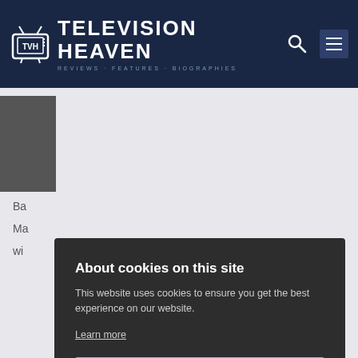TELEVISION HEAVEN
[Figure (screenshot): Cookie consent modal overlay on Television Heaven website with dark background, showing cookie notice text, Learn more link, Allow all cookies button (yellow), and Cookie settings button (white)]
About cookies on this site
This website uses cookies to ensure you get the best experience on our website.
Learn more
Allow all cookies
Cookie settings